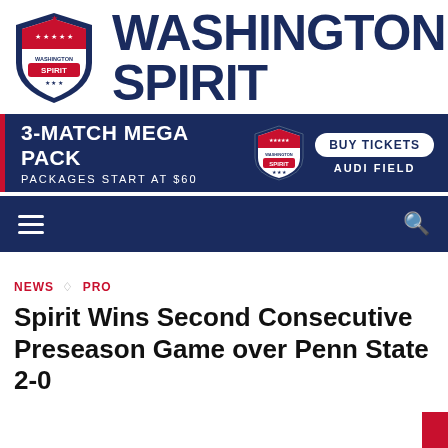[Figure (logo): Washington Spirit shield logo with red, white, blue colors and stars]
WASHINGTON SPIRIT
[Figure (infographic): 3-MATCH MEGA PACK advertisement banner. Packages start at $60. Buy Tickets. Audi Field.]
Navigation bar with hamburger menu and search icon
NEWS ◇ PRO
Spirit Wins Second Consecutive Preseason Game over Penn State 2-0